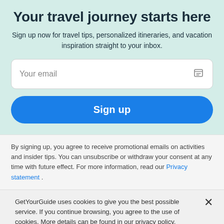Your travel journey starts here
Sign up now for travel tips, personalized itineraries, and vacation inspiration straight to your inbox.
Your email
Sign up
By signing up, you agree to receive promotional emails on activities and insider tips. You can unsubscribe or withdraw your consent at any time with future effect. For more information, read our Privacy statement .
GetYourGuide uses cookies to give you the best possible service. If you continue browsing, you agree to the use of cookies. More details can be found in our privacy policy.